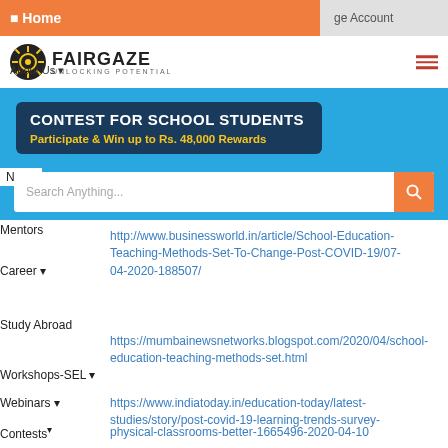Home | Manage Account
[Figure (logo): FairGaze logo with gear icon and tagline UNLOCKING POTENTIAL]
About Us
[Figure (screenshot): Blue banner with contest promotion: CONTEST FOR SCHOOL STUDENTS - Participate & Win up to Rs. 48,000 Rewards, with search bar below]
News
Mentors
Career
Study Abroad
Workshops-SEL
Webinars
Contests
Events
Campaigns
http://www.businessworld.in/article/School-Education-Teaching-Methods-Set-To-Change-Post-COVID-19/07-04-2020-188507/
https://mumbainewsnetworks.blogspot.com/2020/04/school-education-teaching-methods-set.html
https://www.indiatoday.in/education-today/latest-studies/story/post-covid-19-learning-trends-survey-physical-classrooms-better-1665496-2020-04-10
https://indianexpress.com/article/education/covid-impact-on-publishing-houses-traditional-books-online-learning-6375437/